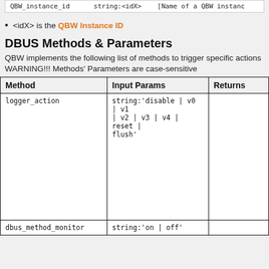QBW_instance_id ... [Name of a QBW instance/ratio]
<idX> is the QBW Instance ID
DBUS Methods & Parameters
QBW implements the following list of methods to trigger specific actions
WARNING!!! Methods' Parameters are case-sensitive
| Method | Input Params | Returns |
| --- | --- | --- |
| logger_action | string:'disable | v0 | v1 | v2 | v3 | v4 | reset | flush' |  |
| dbus_method_monitor | string:'on | off' |  |